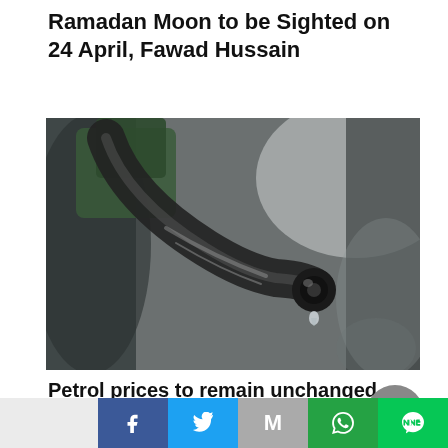Ramadan Moon to be Sighted on 24 April, Fawad Hussain
[Figure (photo): Close-up photograph of a petrol pump nozzle with a fuel drop dripping from the tip, blurred background]
Petrol prices to remain unchanged for the first 15 days of November
Social share bar: Facebook, Twitter, Gmail, WhatsApp, Line